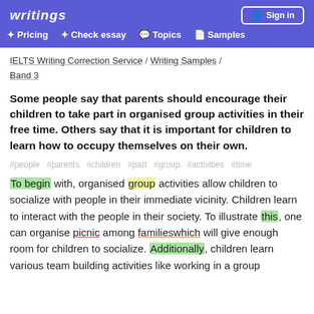writings — Pricing / Check essay / Topics / Samples / Sign in
IELTS Writing Correction Service / Writing Samples / Band 3
Some people say that parents should encourage their children to take part in organised group activities in their free time. Others say that it is important for children to learn how to occupy themselves on their own.
#people #parents #children #part #group #activities #time
To begin with, organised group activities allow children to socialize with people in their immediate vicinity. Children learn to interact with the people in their society. To illustrate this, one can organise picnic among familieswhich will give enough room for children to socialize. Additionally, children learn various team building activities like working in a group